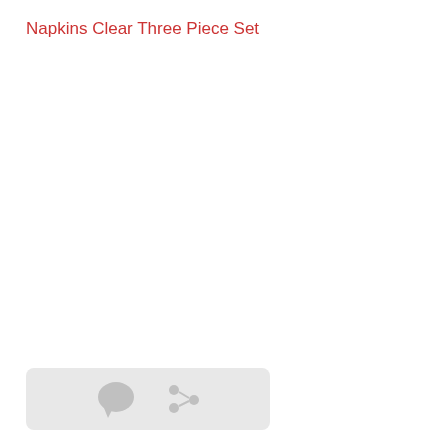Napkins Clear Three Piece Set
[Figure (other): UI bar with comment and share icons at bottom left of page]